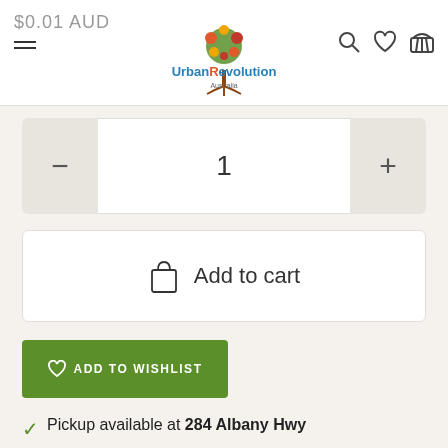$0.01 AUD — Urban Revolution Australia — navigation icons
1
Add to cart
ADD TO WISHLIST
Pickup available at 284 Albany Hwy
Usually ready in 24 hours
View store information